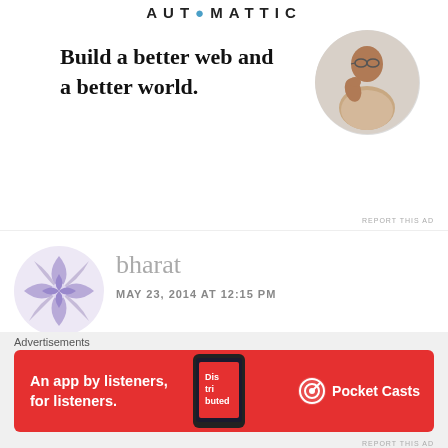AUTOMATTIC
Build a better web and a better world.
[Figure (illustration): Apply button (blue rounded rectangle with white text 'Apply')]
[Figure (photo): Circular cropped photo of a man with glasses, resting his chin on his hand, sitting at a desk]
REPORT THIS AD
[Figure (logo): Circular purple/lavender avatar with snowflake/star pattern made of curved wedge shapes]
bharat
MAY 23, 2014 AT 12:15 PM
Just fake its flipkart doesnt
Advertisements
[Figure (illustration): Pocket Casts advertisement banner: red background, white text 'An app by listeners, for listeners.' with a phone graphic showing 'Distributed' and Pocket Casts logo on the right]
REPORT THIS AD